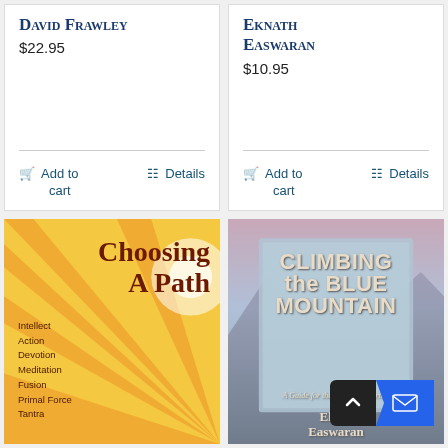David Frawley
$22.95
Add to cart | Details
Eknath Easwaran
$10.95
Add to cart | Details
[Figure (photo): Book cover: Choosing A Path by David Frawley. Yellow background with radiating sunrays. Subtitle topics: Intellect, Action, Devotion, Meditation, Fusion, Primal Force, Tantra.]
[Figure (photo): Book cover: Climbing the Blue Mountain by Eknath Easwaran. A Guide for the Spiritual Journey. Sky and mountain background in muted blue-pink tones.]